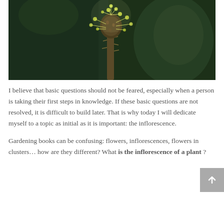[Figure (photo): Close-up macro photograph of a plant inflorescence with small greenish-white flowers and stamens on a dark green background]
I believe that basic questions should not be feared, especially when a person is taking their first steps in knowledge. If these basic questions are not resolved, it is difficult to build later. That is why today I will dedicate myself to a topic as initial as it is important: the inflorescence.
Gardening books can be confusing: flowers, inflorescences, flowers in clusters… how are they different? What is the inflorescence of a plant ?